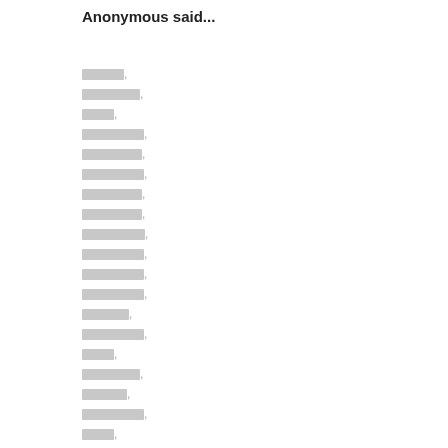Anonymous said...
[redacted line 1],
[redacted line 2],
[redacted line 3],
[redacted line 4],
[redacted line 5],
[redacted line 6],
[redacted line 7],
[redacted line 8],
[redacted line 9],
[redacted line 10],
[redacted line 11],
[redacted line 12],
[redacted line 13],
[redacted line 14],
[redacted line 15],
[redacted line 16],
[redacted line 17],
[redacted line 18],
[redacted line 19],
[redacted line 20],
[redacted line 21],
[redacted line 22],